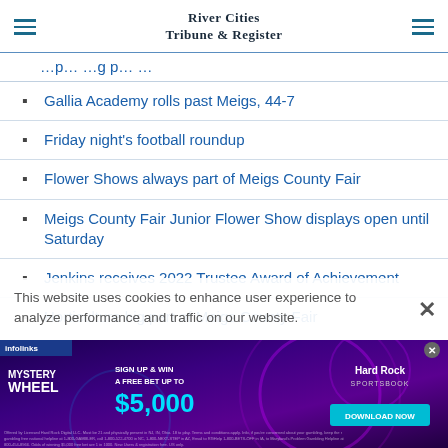River Cities Tribune & Register
Gallia Academy rolls past Meigs, 44-7
Friday night's football roundup
Flower Shows always part of Meigs County Fair
Meigs County Fair Junior Flower Show displays open until Saturday
Jenkins receives 2022 Trustee Award of Achievement
Horticulture big part of Meigs County Fair
This website uses cookies to enhance user experience to analyze performance and traffic on our website.
[Figure (screenshot): Hard Rock Sportsbook advertisement banner: Mystery Wheel - Sign Up & Win A Free Bet Up To $5,000. Download Now button. Infolinks badge.]